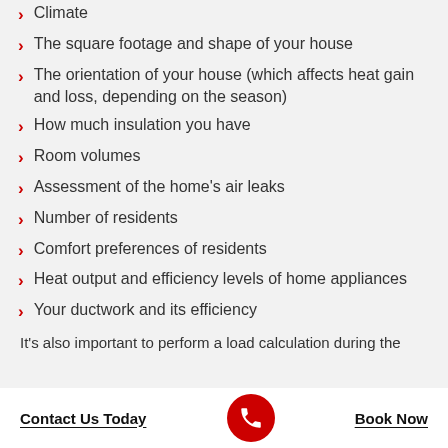Climate
The square footage and shape of your house
The orientation of your house (which affects heat gain and loss, depending on the season)
How much insulation you have
Room volumes
Assessment of the home's air leaks
Number of residents
Comfort preferences of residents
Heat output and efficiency levels of home appliances
Your ductwork and its efficiency
It's also important to perform a load calculation during the
Contact Us Today | [phone icon] | Book Now